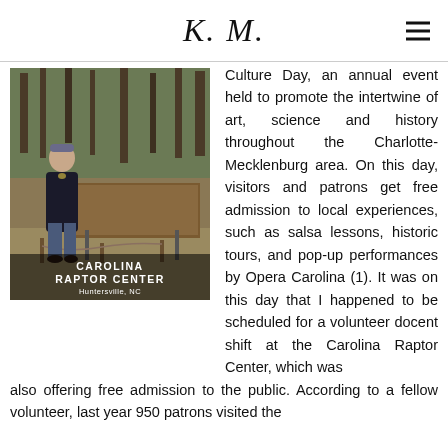K. M.
[Figure (photo): A person standing outdoors next to a brown informational display structure at the Carolina Raptor Center, Huntersville, NC. Bare trees visible in background.]
Culture Day, an annual event held to promote the intertwine of art, science and history throughout the Charlotte-Mecklenburg area. On this day, visitors and patrons get free admission to local experiences, such as salsa lessons, historic tours, and pop-up performances by Opera Carolina (1). It was on this day that I happened to be scheduled for a volunteer docent shift at the Carolina Raptor Center, which was also offering free admission to the public. According to a fellow volunteer, last year 950 patrons visited the